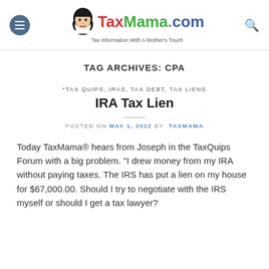TaxMama.com — Tax Information With A Mother's Touch
TAG ARCHIVES: CPA
*TAX QUIPS, IRAS, TAX DEBT, TAX LIENS
IRA Tax Lien
POSTED ON MAY 1, 2012 BY TAXMAMA
Today TaxMama® hears from Joseph in the TaxQuips Forum with a big problem. "I drew money from my IRA without paying taxes. The IRS has put a lien on my house for $67,000.00. Should I try to negotiate with the IRS myself or should I get a tax lawyer?